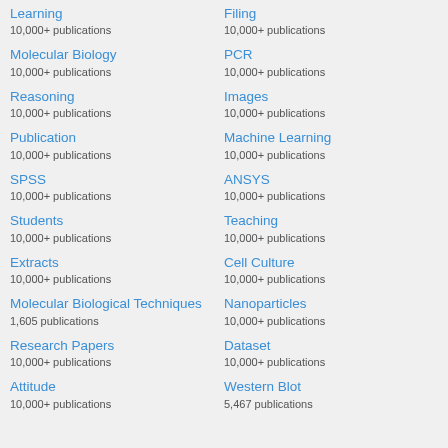Learning
10,000+ publications
Molecular Biology
10,000+ publications
Reasoning
10,000+ publications
Publication
10,000+ publications
SPSS
10,000+ publications
Students
10,000+ publications
Extracts
10,000+ publications
Molecular Biological Techniques
1,605 publications
Research Papers
10,000+ publications
Attitude
10,000+ publications
Filing
10,000+ publications
PCR
10,000+ publications
Images
10,000+ publications
Machine Learning
10,000+ publications
ANSYS
10,000+ publications
Teaching
10,000+ publications
Cell Culture
10,000+ publications
Nanoparticles
10,000+ publications
Dataset
10,000+ publications
Western Blot
5,467 publications